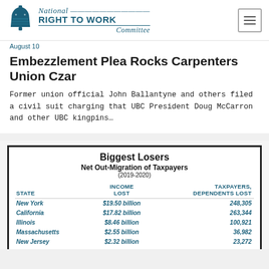National RIGHT TO WORK Committee
August 10
Embezzlement Plea Rocks Carpenters Union Czar
Former union official John Ballantyne and others filed a civil suit charging that UBC President Doug McCarron and other UBC kingpins…
| STATE | INCOME LOST | TAXPAYERS, DEPENDENTS LOST |
| --- | --- | --- |
| New York | $19.50 billion | 248,305 |
| California | $17.82 billion | 263,344 |
| Illinois | $8.46 billion | 100,921 |
| Massachusetts | $2.55 billion | 36,982 |
| New Jersey | $2.32 billion | 23,272 |